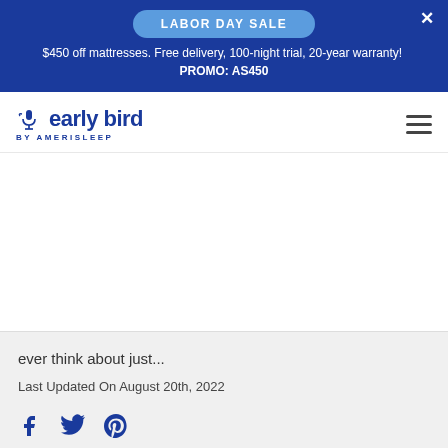LABOR DAY SALE — $450 off mattresses. Free delivery, 100-night trial, 20-year warranty! PROMO: AS450
[Figure (logo): Early Bird by Amerisleep logo with bird/microphone icon]
ever think about just...
Last Updated On August 20th, 2022
[Figure (infographic): Social share icons: Facebook, Twitter, Pinterest]